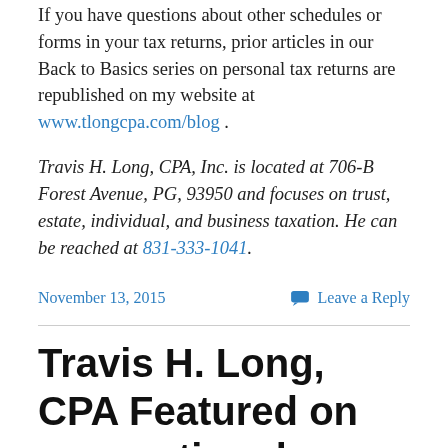If you have questions about other schedules or forms in your tax returns, prior articles in our Back to Basics series on personal tax returns are republished on my website at www.tlongcpa.com/blog .
Travis H. Long, CPA, Inc. is located at 706-B Forest Avenue, PG, 93950 and focuses on trust, estate, individual, and business taxation. He can be reached at 831-333-1041.
November 13, 2015
Leave a Reply
Travis H. Long, CPA Featured on accountingplay.com Podcast